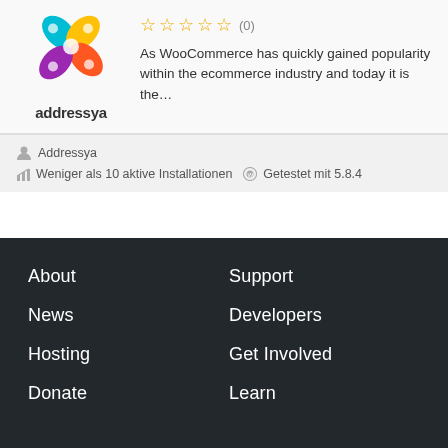[Figure (logo): Addressya colorful flower/petals logo with text 'addressya' below]
(0) As WooCommerce has quickly gained popularity within the ecommerce industry and today it is the…
Addressya
Weniger als 10 aktive Installationen Getestet mit 5.8.4
About
Support
News
Developers
Hosting
Get Involved
Donate
Learn